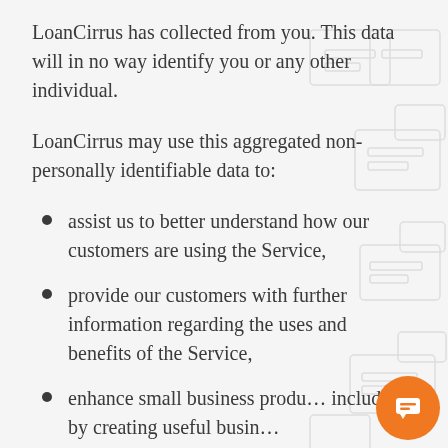LoanCirrus has collected from you. This data will in no way identify you or any other individual.
LoanCirrus may use this aggregated non-personally identifiable data to:
assist us to better understand how our customers are using the Service,
provide our customers with further information regarding the uses and benefits of the Service,
enhance small business produ… including by creating useful busin…